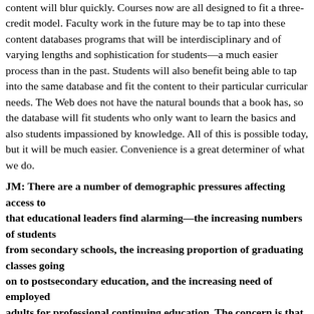content will blur quickly. Courses now are all designed to fit a three-credit model. Faculty work in the future may be to tap into these content databases programs that will be interdisciplinary and of varying lengths and sophistication for students—a much easier process than in the past. Students will also benefit by being able to tap into the same database and fit the content to their particular curricular needs. The Web does not have the natural bounds that a book has, so the database will fit students who only want to learn the basics and also students who are impassioned by knowledge. All of this is possible today, but it will be much easier. Convenience is a great determiner of what we do.
JM: There are a number of demographic pressures affecting access to higher education that educational leaders find alarming—the increasing numbers of students from secondary schools, the increasing proportion of graduating classes going on to postsecondary education, and the increasing need of employed adults for professional continuing education. The concern is that we don't have space for these students. What role do you see for technology here?
JB: Technology—and particularly learning via the Web—is a major new tool that offers hope to those working on the problem of access to higher education. But, access is about more than access. The question is, Access to what? One part of the answer is access to the tools that enable us to learn via the Web. The other question is: access to the education that is right for the individual and for the society.
The problem of access to information technology tools is diminishing; but the need is more needed than ever. Over the last thirty-five years, technology power has...